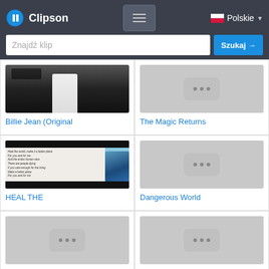Clipson — Polskie
Znajdź klip
[Figure (screenshot): Billie Jean (Original — video thumbnail showing a figure in white against dark background]
Billie Jean (Original
[Figure (screenshot): The Magic Returns — placeholder video thumbnail with dots icon]
The Magic Returns
[Figure (screenshot): HEAL THE — video thumbnail with lyrics text and person in colorful outfit]
HEAL THE
[Figure (screenshot): Dangerous World — placeholder video thumbnail with dots icon]
Dangerous World
[Figure (screenshot): Commercial Pepsi — placeholder video thumbnail with dots icon]
Commercial Pepsi
[Figure (screenshot): Pepsi Commercial — placeholder video thumbnail with dots icon]
Pepsi Commercial